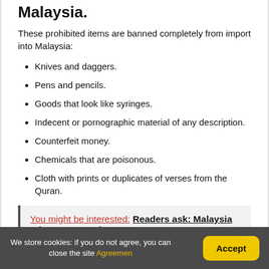Malaysia.
These prohibited items are banned completely from import into Malaysia:
Knives and daggers.
Pens and pencils.
Goods that look like syringes.
Indecent or pornographic material of any description.
Counterfeit money.
Chemicals that are poisonous.
Cloth with prints or duplicates of verses from the Quran.
You might be interested: Readers ask: Malaysia Where To Travel?
We store cookies: if you do not agree, you can close the site Agreement